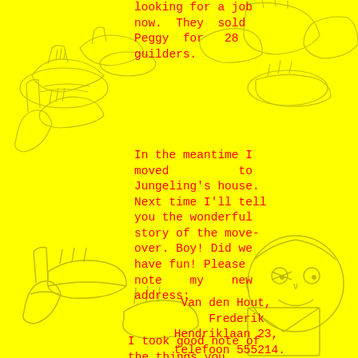[Figure (illustration): Yellow background with pencil sketch illustrations of shoes/boots at the top and a cartoon face/character at the bottom right, overlapping with the text]
looking for a job now. They sold Peggy for 28 guilders.
In the meantime I moved to Jungeling's house. Next time I'll tell you the wonderful story of the move-over. Boy! Did we have fun! Please note my new address:
Van den Hout, Frederik Hendriklaan 23, telefoon 555214.
I took good note of the things you...